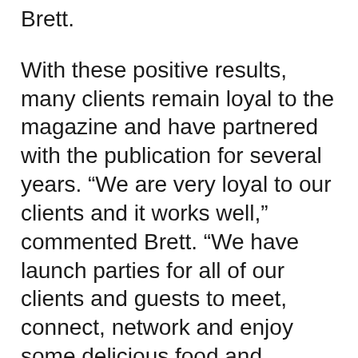Brett.
With these positive results, many clients remain loyal to the magazine and have partnered with the publication for several years. “We are very loyal to our clients and it works well,” commented Brett. “We have launch parties for all of our clients and guests to meet, connect, network and enjoy some delicious food and beverages while relaxing to some great entertainment.”
Creating a stunning magazine issue after issue is all in a day’s work for Senior Art Director Darin Benson. Darin makes an impression with the savvy readers of Kansas City, and he does that with ease and style, as evidenced by his